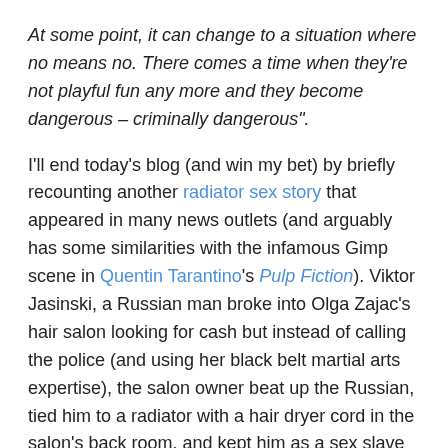At some point, it can change to a situation where no means no. There comes a time when they're not playful fun any more and they become dangerous – criminally dangerous".
I'll end today's blog (and win my bet) by briefly recounting another radiator sex story that appeared in many news outlets (and arguably has some similarities with the infamous Gimp scene in Quentin Tarantino's Pulp Fiction). Viktor Jasinski, a Russian man broke into Olga Zajac's hair salon looking for cash but instead of calling the police (and using her black belt martial arts expertise), the salon owner beat up the Russian, tied him to a radiator with a hair dryer cord in the salon's back room, and kept him as a sex slave for three days (using Viagra against the man's will) before letting him go.